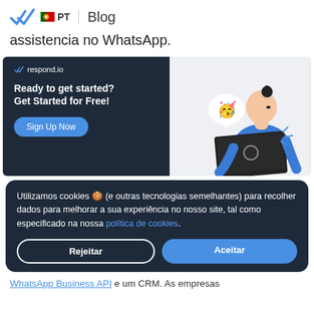respond.io PT | Blog
assistencia no WhatsApp.
[Figure (screenshot): respond.io promotional banner with dark left panel showing 'Ready to get started? Get Started for Free!' headline and 'Sign Up Now' button, and right panel showing illustration of person using laptop with party emoji]
Utilizamos cookies 🍪 (e outras tecnologias semelhantes) para recolher dados para melhorar a sua experiência no nosso site, tal como especificado na nossa política de cookies.
Rejeitar  Aceitar
WhatsApp Business API e um CRM. As empresas